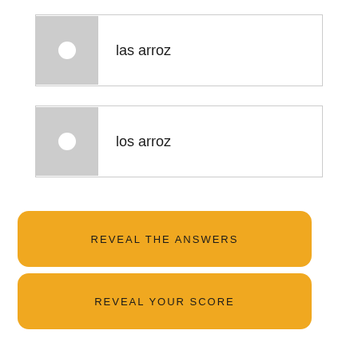las arroz
los arroz
REVEAL THE ANSWERS
REVEAL YOUR SCORE